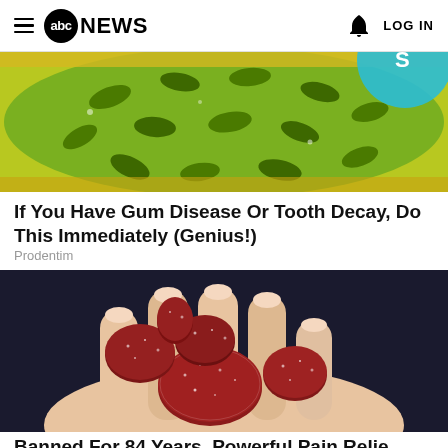abc NEWS  LOG IN
[Figure (photo): Close-up of sliced green and yellow fruit (possibly kiwano/horned melon) with seeds visible, with a teal circular overlay in upper right corner]
If You Have Gum Disease Or Tooth Decay, Do This Immediately (Genius!)
Prodentim
[Figure (photo): A hand holding several red sugar-coated gummy candies/supplements against a dark background]
Banned For 84 Years, Powerful Pain Relie…